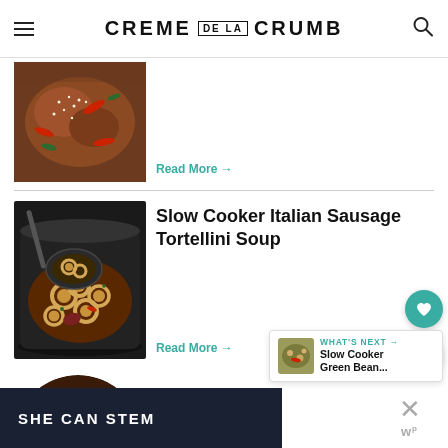CREME DE LA CRUMB
[Figure (photo): Partial view of a meat dish with sesame seeds and peppers]
Read More →
Slow Cooker Italian Sausage Tortellini Soup
[Figure (photo): Slow cooker with Italian sausage tortellini soup, showing a ladle scooping tortellini]
Read More →
[Figure (photo): Partial circular image of a stew with potatoes and peppers]
WHAT'S NEXT → Slow Cooker Green Bean...
SHE CAN STEM